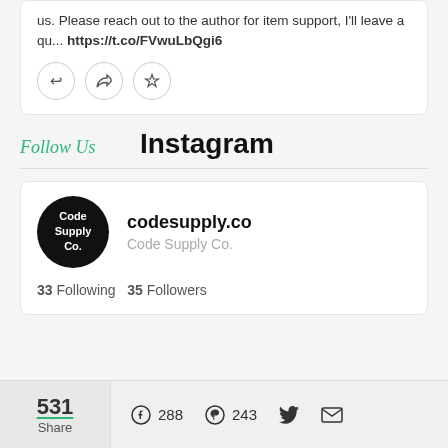us. Please reach out to the author for item support, I'll leave a qu... https://t.co/FVwuLbQgi6
Follow Us
Instagram
[Figure (infographic): Instagram profile widget showing Code Supply Co. account with black circular avatar, username codesupply.co, 33 Following and 35 Followers]
531 Share   288   243